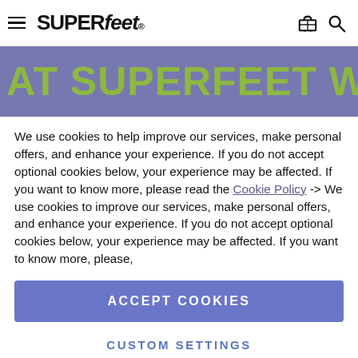Superfeet logo with hamburger menu, cart and search icons
AT SUPERFEET WE DO
We use cookies to help improve our services, make personal offers, and enhance your experience. If you do not accept optional cookies below, your experience may be affected. If you want to know more, please read the Cookie Policy -> We use cookies to improve our services, make personal offers, and enhance your experience. If you do not accept optional cookies below, your experience may be affected. If you want to know more, please,
ACCEPT COOKIES
CUSTOM SETTINGS